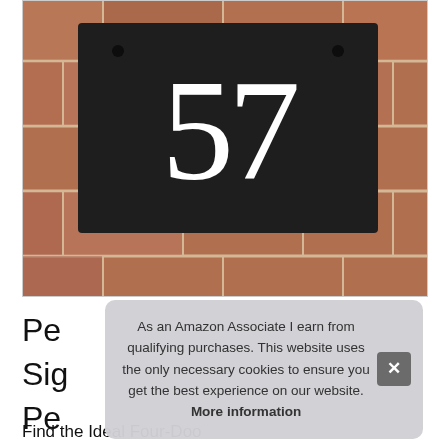[Figure (photo): A slate house number sign showing '57' in white numerals mounted on a red brick wall. The slate plaque is dark/charcoal colored with two visible screws and large white numbers.]
Pe
Sig
Pe
Fin………
As an Amazon Associate I earn from qualifying purchases. This website uses the only necessary cookies to ensure you get the best experience on our website. More information